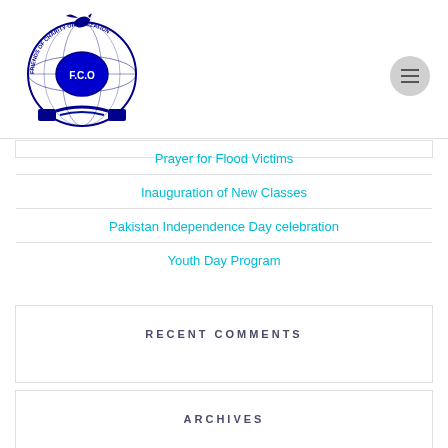[Figure (logo): FCO Friends of Charity Organization circular logo with dove, globe, handshake, in dark blue]
Prayer for Flood Victims
Inauguration of New Classes
Pakistan Independence Day celebration
Youth Day Program
RECENT COMMENTS
ARCHIVES